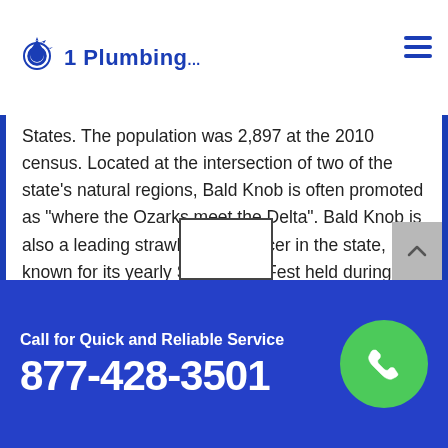1 Plumbing...
States. The population was 2,897 at the 2010 census. Located at the intersection of two of the state's natural regions, Bald Knob is often promoted as "where the Ozarks meet the Delta". Bald Knob is also a leading strawberry producer in the state, known for its yearly Strawberry Fest held during Mother's Day weekend. It was once known as the leading strawberry producer in the world. Bald Knob was established in 1881.
Call for Quick and Reliable Service
877-428-3501